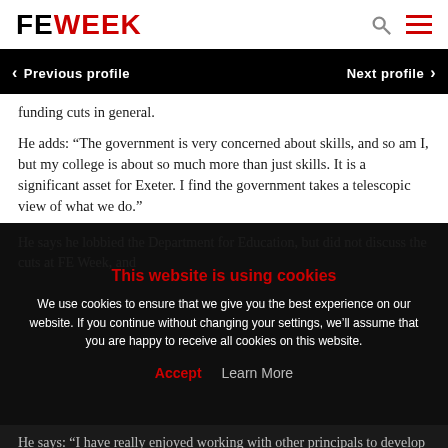FE WEEK
Previous profile   Next profile
funding cuts in general.
He adds: “The government is very concerned about skills, and so am I, but my college is about so much more than just skills. It is a significant asset for Exeter. I find the government takes a telescopic view of what we do.”
He says he lobbied the Department for Education, but did not discuss the cuts at FE Week, and...
This website is using cookies
We use cookies to ensure that we give you the best experience on our website. If you continue without changing your settings, we’ll assume that you are happy to receive all cookies on this website.
Accept   Learn More
He says: “I have really enjoyed working with other principals to develop the AoC and I think it is in good shape.”